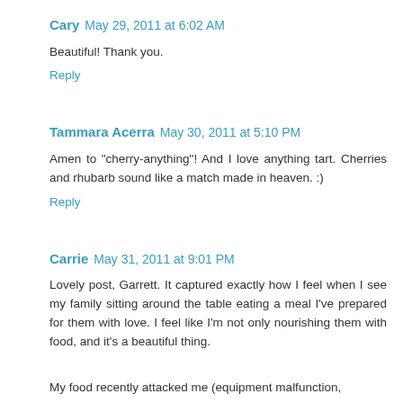Cary  May 29, 2011 at 6:02 AM
Beautiful! Thank you.
Reply
Tammara Acerra  May 30, 2011 at 5:10 PM
Amen to "cherry-anything"! And I love anything tart. Cherries and rhubarb sound like a match made in heaven. :)
Reply
Carrie  May 31, 2011 at 9:01 PM
Lovely post, Garrett. It captured exactly how I feel when I see my family sitting around the table eating a meal I've prepared for them with love. I feel like I'm not only nourishing them with food, and it's a beautiful thing.
My food recently attacked me (equipment malfunction,